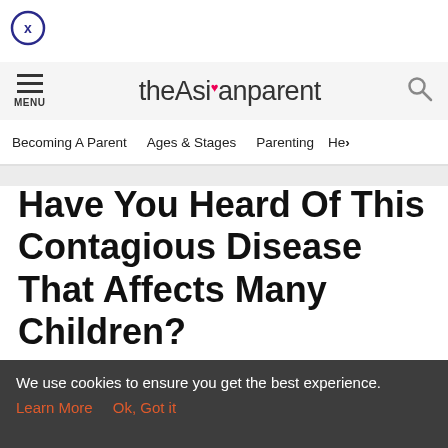[Figure (other): Close button with X in a circle, dark blue outline]
theAsianparent — site header with menu icon, logo, and search icon
Becoming A Parent   Ages & Stages   Parenting   He>
Have You Heard Of This Contagious Disease That Affects Many Children?
[Figure (other): Bottom navigation bar with Tools, Articles, home (feet icon in pink circle), Feed, Poll icons]
We use cookies to ensure you get the best experience.
Learn More   Ok, Got it